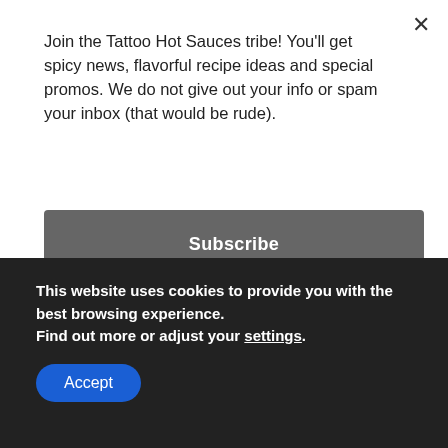Join the Tattoo Hot Sauces tribe! You'll get spicy news, flavorful recipe ideas and special promos. We do not give out your info or spam your inbox (that would be rude).
Subscribe
Avocado Serrano Hot Sauce
Beef
Burgers
Chicken
This website uses cookies to provide you with the best browsing experience.
Find out more or adjust your settings.
Accept